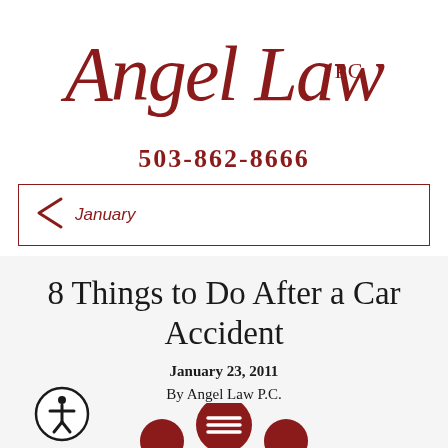[Figure (logo): Angel Law PC logo in dark red cursive script with 'PC' in serif uppercase]
503-862-8666
January
8 Things to Do After a Car Accident
January 23, 2011
By Angel Law P.C.